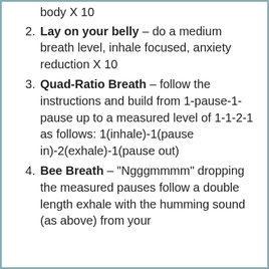body X 10
Lay on your belly – do a medium breath level, inhale focused, anxiety reduction X 10
Quad-Ratio Breath – follow the instructions and build from 1-pause-1-pause up to a measured level of 1-1-2-1 as follows: 1(inhale)-1(pause in)-2(exhale)-1(pause out)
Bee Breath – "Ngggmmmm" dropping the measured pauses follow a double length exhale with the humming sound (as above) from your